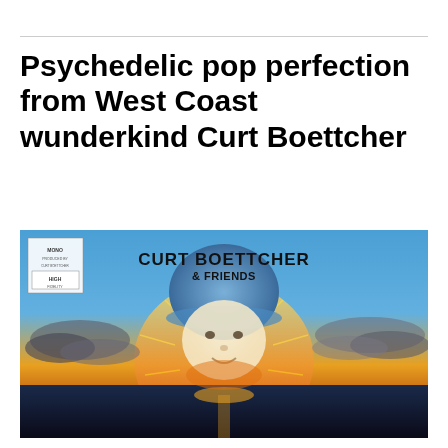Psychedelic pop perfection from West Coast wunderkind Curt Boettcher
[Figure (photo): Album cover of 'Curt Boettcher & Friends' showing a psychedelic image of a man's face blended with a dramatic sunset sky over the ocean, with clouds and golden light. The text 'CURT BOETTCHER & FRIENDS' appears in bold black lettering at the top of the album cover.]